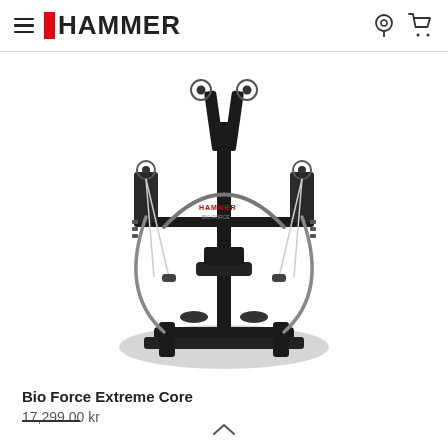≡ HAMMER
[Figure (photo): A Hammer Bio Force Extreme Core home gym machine shown from above/front view. Black metal frame with cable pulley system, resistance bands, and workout bench. Top-down angled view showing the full machine including base platform, adjustable bench, and multiple cable attachment points.]
Bio Force Extreme Core
17,299.00 kr